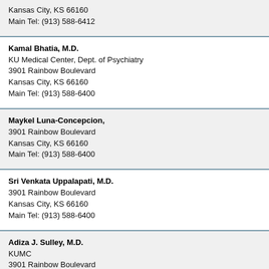Kansas City, KS 66160
Main Tel: (913) 588-6412
Kamal Bhatia, M.D.
KU Medical Center, Dept. of Psychiatry
3901 Rainbow Boulevard
Kansas City, KS 66160
Main Tel: (913) 588-6400
Maykel Luna-Concepcion,
3901 Rainbow Boulevard
Kansas City, KS 66160
Main Tel: (913) 588-6400
Sri Venkata Uppalapati, M.D.
3901 Rainbow Boulevard
Kansas City, KS 66160
Main Tel: (913) 588-6400
Adiza J. Sulley, M.D.
KUMC
3901 Rainbow Boulevard
Kansas City, KS 66160
Main Tel: (913) 588-6412